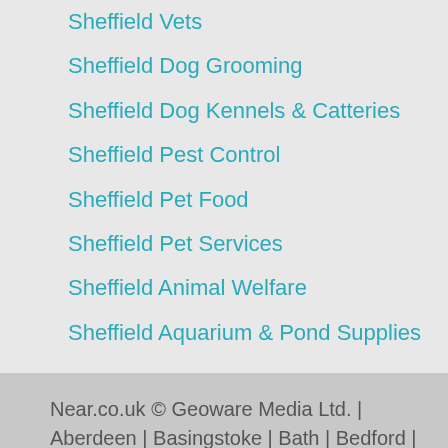Sheffield Vets
Sheffield Dog Grooming
Sheffield Dog Kennels & Catteries
Sheffield Pest Control
Sheffield Pet Food
Sheffield Pet Services
Sheffield Animal Welfare
Sheffield Aquarium & Pond Supplies
Near.co.uk © Geoware Media Ltd. | Aberdeen | Basingstoke | Bath | Bedford | Belfast | Birmingham | Blackpool | Bolton | Bournemouth | Bradford
Cookies Policy | Privacy Policy | Terms of Use | Community Guidelines